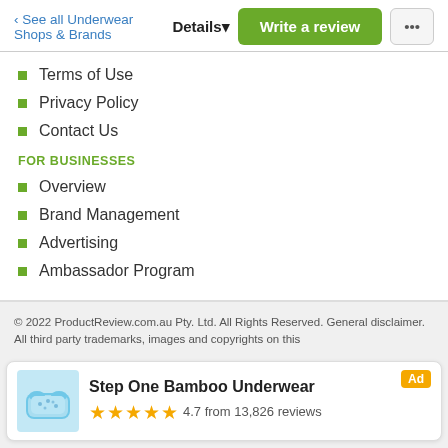‹ See all Underwear Shops & Brands
Terms of Use
Privacy Policy
Contact Us
FOR BUSINESSES
Overview
Brand Management
Advertising
Ambassador Program
© 2022 ProductReview.com.au Pty. Ltd. All Rights Reserved. General disclaimer. All third party trademarks, images and copyrights on this
[Figure (infographic): Ad banner for Step One Bamboo Underwear showing product image, 4.7 star rating from 13,826 reviews, and Ad label]
do not reflect the opinion of ProductReview.com.au. Further details